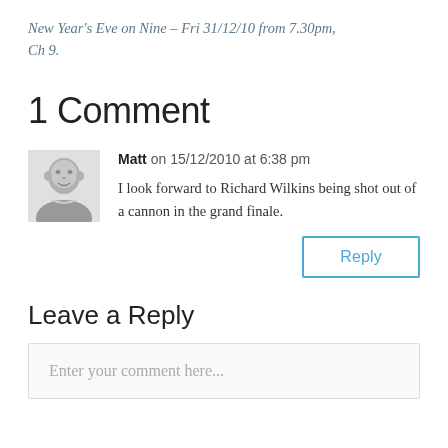New Year's Eve on Nine – Fri 31/12/10 from 7.30pm, Ch 9.
1 Comment
[Figure (photo): Black and white headshot photo of a man named Matt]
Matt on 15/12/2010 at 6:38 pm
I look forward to Richard Wilkins being shot out of a cannon in the grand finale.
Reply
Leave a Reply
Enter your comment here...